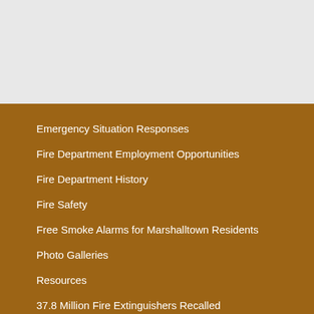Emergency Situation Responses
Fire Department Employment Opportunities
Fire Department History
Fire Safety
Free Smoke Alarms for Marshalltown Residents
Photo Galleries
Resources
37.8 Million Fire Extinguishers Recalled